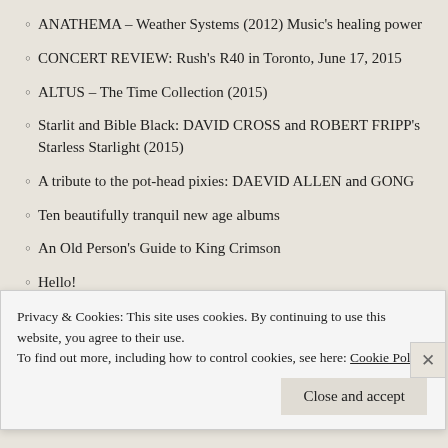ANATHEMA – Weather Systems (2012) Music's healing power
CONCERT REVIEW: Rush's R40 in Toronto, June 17, 2015
ALTUS – The Time Collection (2015)
Starlit and Bible Black: DAVID CROSS and ROBERT FRIPP's Starless Starlight (2015)
A tribute to the pot-head pixies: DAEVID ALLEN and GONG
Ten beautifully tranquil new age albums
An Old Person's Guide to King Crimson
Hello!
ROBERT RICH – Filaments (2015)
STEVEN WILSON – Hand. Cannot. Erase. (2015)
10 of the best albums of the late 1960s, Vol. 1
THE GATELESS GATE – Landslag Norðurs Íslands (The Landscape of North…
Privacy & Cookies: This site uses cookies. By continuing to use this website, you agree to their use.
To find out more, including how to control cookies, see here: Cookie Policy
Close and accept